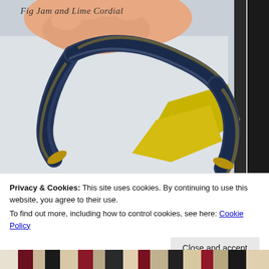[Figure (photo): A hand holding a braided blue and gold rope/cord bracelet against a white surface, with a yellow card/piece visible in the background. A dark striped fabric is visible on the right edge.]
Fig Jam and Lime Cordial
Privacy & Cookies: This site uses cookies. By continuing to use this website, you agree to their use.
To find out more, including how to control cookies, see here: Cookie Policy
[Figure (photo): Bottom strip showing a partial view of what appears to be a striped fabric with dark/maroon/white stripes.]